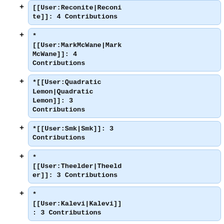[[User:Reconite|Reconite]]: 4 Contributions
* [[User:MarkMcWane|Mark McWane]]: 4 Contributions
*[[User:Quadratic Lemon|Quadratic Lemon]]: 3 Contributions
*[[User:Smk|Smk]]: 3 Contributions
* [[User:Theelder|Theelder]]: 3 Contributions
* [[User:Kalevi|Kalevi]]: 3 Contributions